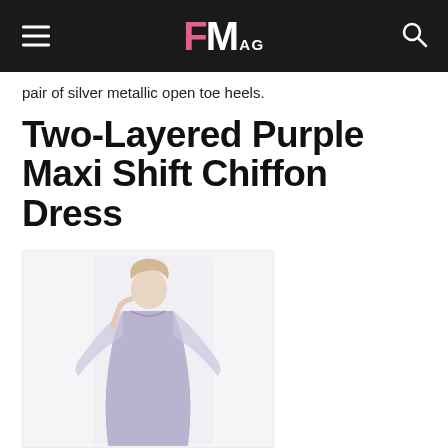FM AG
pair of silver metallic open toe heels.
Two-Layered Purple Maxi Shift Chiffon Dress
[Figure (photo): Model wearing a two-layered purple maxi shift chiffon dress, standing against a light background, hand near face, dress has flowing sleeves]